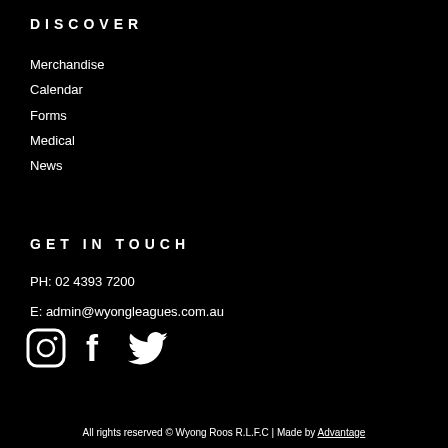DISCOVER
Merchandise
Calendar
Forms
Medical
News
GET IN TOUCH
PH: 02 4393 7200
E: admin@wyongleagues.com.au
[Figure (other): Social media icons: Instagram, Facebook, Twitter]
All rights reserved © Wyong Roos R.L.F.C | Made by Advantage